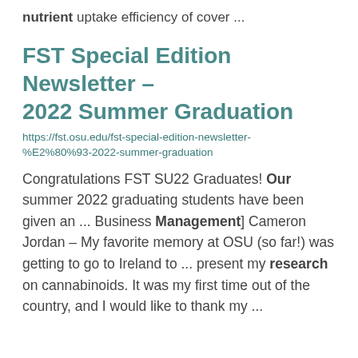nutrient uptake efficiency of cover ...
FST Special Edition Newsletter – 2022 Summer Graduation
https://fst.osu.edu/fst-special-edition-newsletter-%E2%80%93-2022-summer-graduation
Congratulations FST SU22 Graduates! Our summer 2022 graduating students have been given an ... Business Management] Cameron Jordan – My favorite memory at OSU (so far!) was getting to go to Ireland to ... present my research on cannabinoids. It was my first time out of the country, and I would like to thank my ...